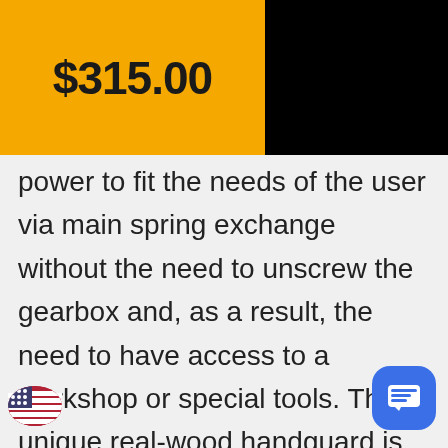$315.00
power to fit the needs of the user via main spring exchange without the need to unscrew the gearbox and, as a result, the need to have access to a workshop or special tools. The unique real-wood handguard is made from hand-worked wood and treated multiple times for the most realistic look possible. The under-folding stock offers great mobility and steady aim for utmost precision. Put the 7.4v battery (not included) under the receiver on the gun. The cover is held by a single latch, which allows for rapid disassembly and change of power ...ce at any time. These replicas are per...